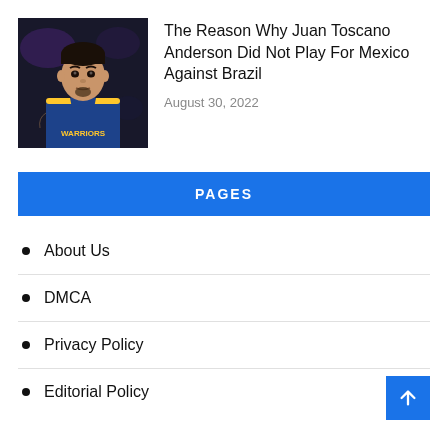[Figure (photo): Photo of Juan Toscano Anderson in a Golden State Warriors jersey]
The Reason Why Juan Toscano Anderson Did Not Play For Mexico Against Brazil
August 30, 2022
PAGES
About Us
DMCA
Privacy Policy
Editorial Policy